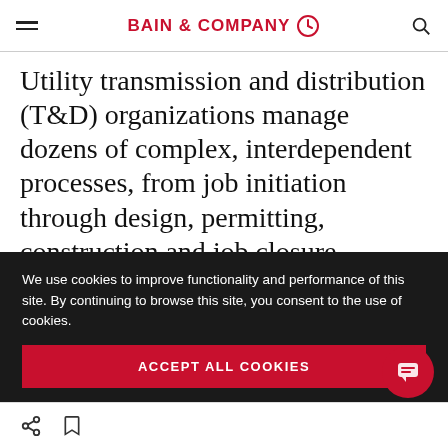BAIN & COMPANY
Utility transmission and distribution (T&D) organizations manage dozens of complex, interdependent processes, from job initiation through design, permitting, construction and job closure. Efficient execution requires close collaboration across these processes, and effective management relies on clear controls
We use cookies to improve functionality and performance of this site. By continuing to browse this site, you consent to the use of cookies.
ACCEPT ALL COOKIES